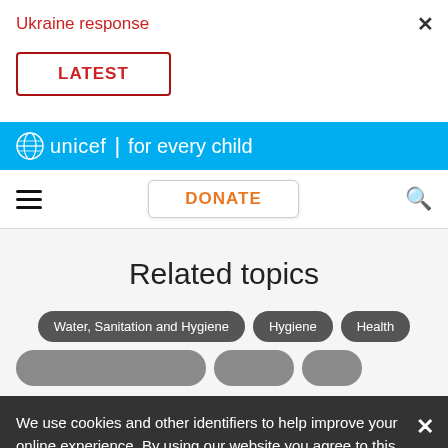Ukraine response
LATEST
[Figure (logo): UNICEF 'for every child' logo on blue background bar]
DONATE
Related topics
Water, Sanitation and Hygiene
Hygiene
Health
We use cookies and other identifiers to help improve your online experience. By using our website you agree to this. To learn more, including how to change your settings, see our cookies policy.